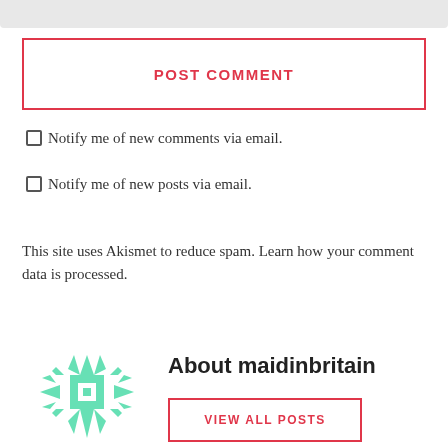[Figure (other): Gray bar at top of page, partial UI element]
POST COMMENT
Notify me of new comments via email.
Notify me of new posts via email.
This site uses Akismet to reduce spam. Learn how your comment data is processed.
[Figure (logo): Green decorative snowflake/quilt pattern icon for maidinbritain]
About maidinbritain
VIEW ALL POSTS